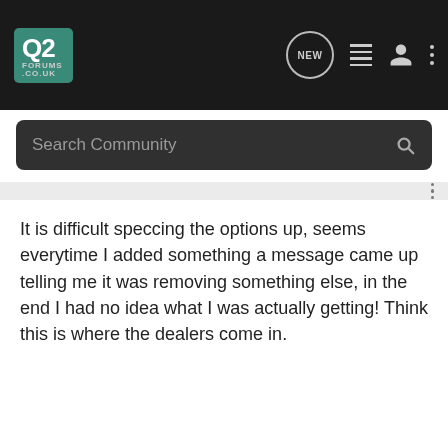Q2 FORUMS.CO.UK
It is difficult speccing the options up, seems everytime I added something a message came up telling me it was removing something else, in the end I had no idea what I was actually getting! Think this is where the dealers come in.
Rob · Premium Member
Joined Mar 31, 2014 · 417 Posts
#7 · Aug 13, 2016
If you go for S-Line in either grey or white you can get body